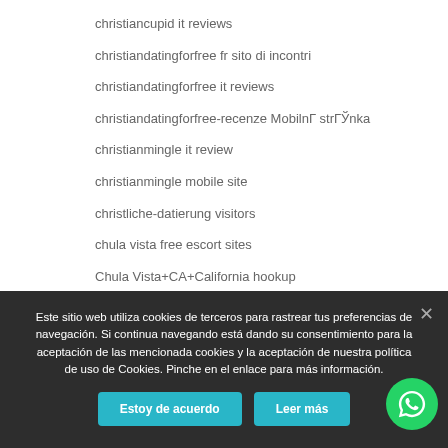christiancupid it reviews
christiandatingforfree fr sito di incontri
christiandatingforfree it reviews
christiandatingforfree-recenze MobilnГ strГЎnka
christianmingle it review
christianmingle mobile site
christliche-datierung visitors
chula vista free escort sites
Chula Vista+CA+California hookup
ciftciler-tarihleme apps
cincinnati dating
Este sitio web utiliza cookies de terceros para rastrear tus preferencias de navegación. Si continua navegando está dando su consentimiento para la aceptación de las mencionada cookies y la aceptación de nuestra política de uso de Cookies. Pinche en el enlace para más información.
Estoy de acuerdo
Leer más